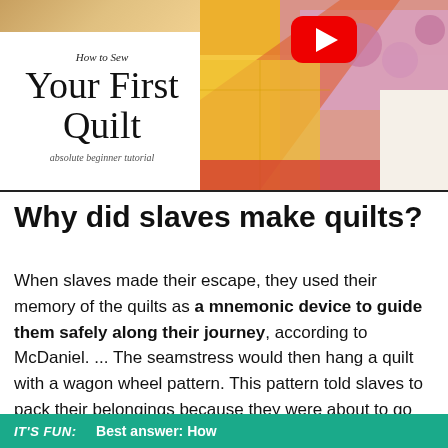[Figure (screenshot): YouTube video thumbnail showing 'How to Sew Your First Quilt - absolute beginner tutorial' with a YouTube play button overlay on a colorful quilt background, and a person visible in the top left corner.]
Why did slaves make quilts?
When slaves made their escape, they used their memory of the quilts as a mnemonic device to guide them safely along their journey, according to McDaniel. ... The seamstress would then hang a quilt with a wagon wheel pattern. This pattern told slaves to pack their belongings because they were about to go on a long journey.
IT'S FUN:  Best answer: How